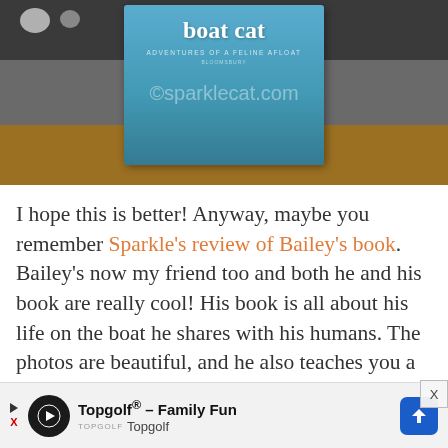[Figure (photo): Photo of a book titled 'boat cat – Adventures of a Feline Afloat' placed on a wooden floor with a dark carpet/rug in the background. A watermark reading '©sparklecat.com' is overlaid on the image.]
I hope this is better! Anyway, maybe you remember Sparkle's review of Bailey's book. Bailey's now my friend too and both he and his book are really cool! His book is all about his life on the boat he shares with his humans. The photos are beautiful, and he also teaches you a little bit about how living on a boat works, for both cats and humans! I think you will love it as much as Sparkle did and I do, so I want one of you to have this copy! You can
[Figure (other): Advertisement banner for Topgolf® – Family Fun. Shows Topgolf logo, text 'Topgolf® – Family Fun' and 'Topgolf' with a blue diamond-shaped arrow icon. Has a play button and X cancel icon.]